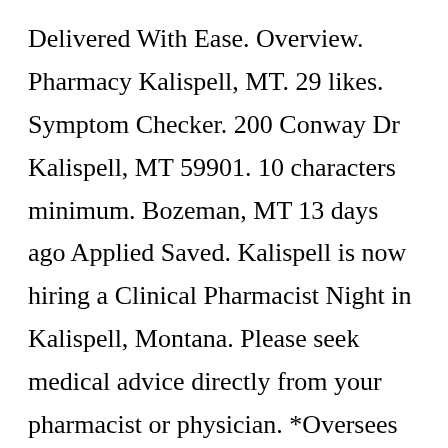Delivered With Ease. Overview. Pharmacy Kalispell, MT. 29 likes. Symptom Checker. 200 Conway Dr Kalispell, MT 59901. 10 characters minimum. Bozeman, MT 13 days ago Applied Saved. Kalispell is now hiring a Clinical Pharmacist Night in Kalispell, Montana. Please seek medical advice directly from your pharmacist or physician. *Oversees the pharmacy technicians to ensure their hours are productive and the quality of the work they complete is high. Write a